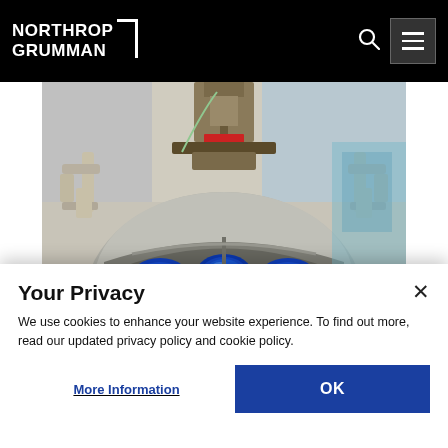NORTHROP GRUMMAN
[Figure (photo): Close-up photo of an aerospace or defense engineering device — a spherical or dome-shaped metallic component with glowing blue crystal/sensor elements mounted symmetrically, and mechanical adjustment knobs/handles on the sides, with mechanical assembly hardware visible at top.]
Your Privacy
We use cookies to enhance your website experience. To find out more, read our updated privacy policy and cookie policy.
More Information
OK